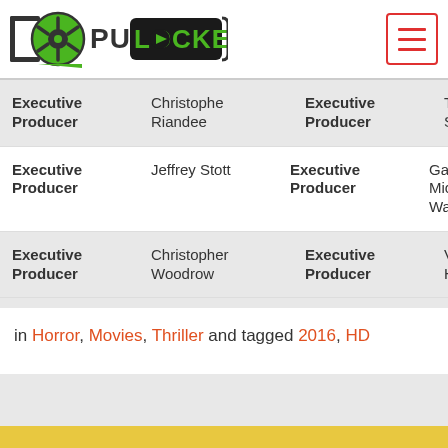PutLocker logo and navigation menu
| Role | Name | Role | Name |
| --- | --- | --- | --- |
| Executive Producer | Christophe Riandee | Executive Producer | Thor Sigurjon |
| Executive Producer | Jeffrey Stott | Executive Producer | Gary Michael Walters |
| Executive Producer | Christopher Woodrow | Executive Producer | Victor H |
in Horror, Movies, Thriller and tagged 2016, HD